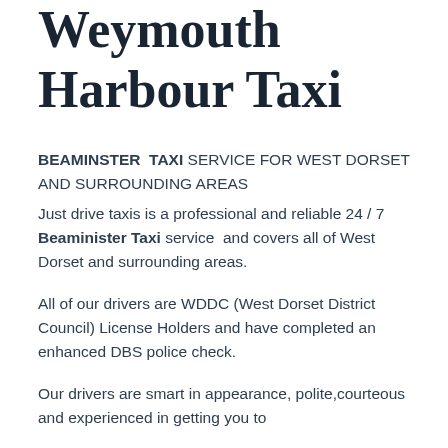Weymouth Harbour Taxi
BEAMINSTER TAXI SERVICE FOR WEST DORSET AND SURROUNDING AREAS
Just drive taxis is a professional and reliable 24 / 7 Beaminister Taxi service and covers all of West Dorset and surrounding areas.
All of our drivers are WDDC (West Dorset District Council) License Holders and have completed an enhanced DBS police check.
Our drivers are smart in appearance, polite,courteous and experienced in getting you to